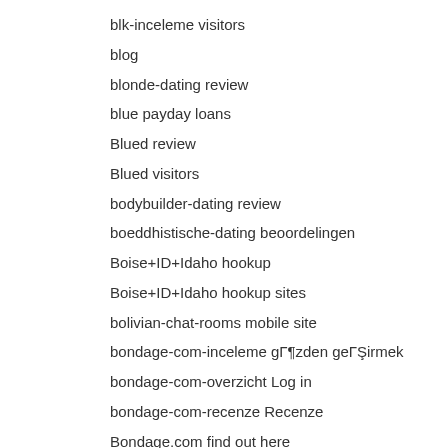blk-inceleme visitors
blog
blonde-dating review
blue payday loans
Blued review
Blued visitors
bodybuilder-dating review
boeddhistische-dating beoordelingen
Boise+ID+Idaho hookup
Boise+ID+Idaho hookup sites
bolivian-chat-rooms mobile site
bondage-com-inceleme gözden geçirmek
bondage-com-overzicht Log in
bondage-com-recenze Recenze
Bondage.com find out here
bondage.com pc
Bondage.com visitors
Bongacams hookup websites
Book of matches en ligne